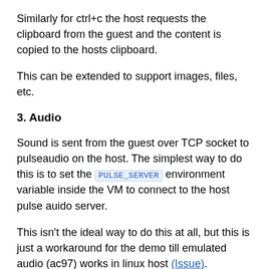Similarly for ctrl+c the host requests the clipboard from the guest and the content is copied to the hosts clipboard.
This can be extended to support images, files, etc.
3. Audio
Sound is sent from the guest over TCP socket to pulseaudio on the host. The simplest way to do this is to set the PULSE_SERVER environment variable inside the VM to connect to the host pulse auido server.
This isn't the ideal way to do this at all, but this is just a workaround for the demo till emulated audio (ac97) works in linux host (Issue).